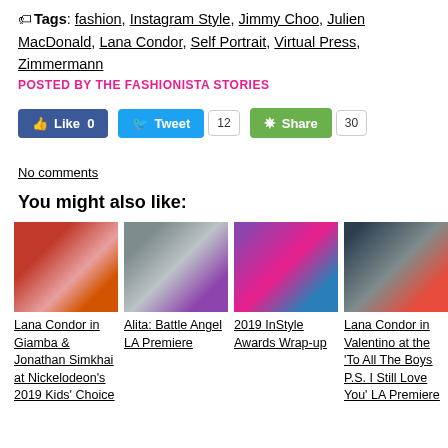Tags: fashion, Instagram Style, Jimmy Choo, Julien MacDonald, Lana Condor, Self Portrait, Virtual Press, Zimmermann
POSTED BY THE FASHIONISTA STORIES
[Figure (infographic): Social sharing buttons: Like 0, Tweet with count 12, Share with count 30]
No comments
You might also like:
[Figure (photo): Lana Condor in red outfit at event]
Lana Condor in Giamba & Jonathan Simkhai at Nickelodeon's 2019 Kids' Choice
[Figure (photo): Fashion photo from Alita Battle Angel LA Premiere]
Alita: Battle Angel LA Premiere
[Figure (photo): Two women at 2019 InStyle Awards]
2019 InStyle Awards Wrap-up
[Figure (photo): Lana Condor in Valentino at To All The Boys premiere]
Lana Condor in Valentino at the 'To All The Boys P.S. I Still Love You' LA Premiere